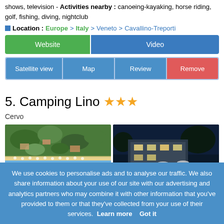shows, television - Activities nearby : canoeing-kayaking, horse riding, golf, fishing, diving, nightclub
Location : Europe > Italy > Veneto > Cavallino-Treporti
Website | Video
Satellite view | Map | Review | Remove
5. Camping Lino ★★★
Cervo
[Figure (photo): Aerial view of camping site near beach]
[Figure (photo): Night view of camping resort with pool and lights]
We use cookies to personalise ads and to analyse our traffic. We also share information about your use of our site with our advertising and analytics partners who may combine it with other information that you've provided to them or that they've collected from your use of their services. Learn more   Got it